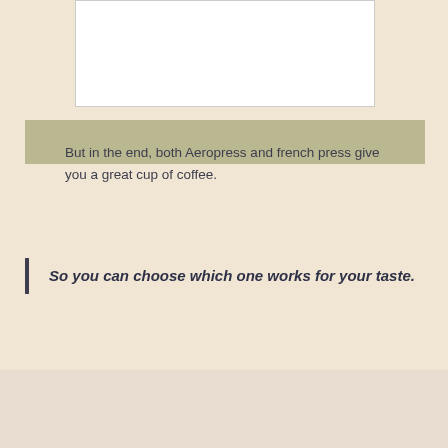[Figure (other): White rectangular image placeholder at top of page]
But in the end, both Aeropress and french press give you a great cup of coffee.
So you can choose which one works for your taste.